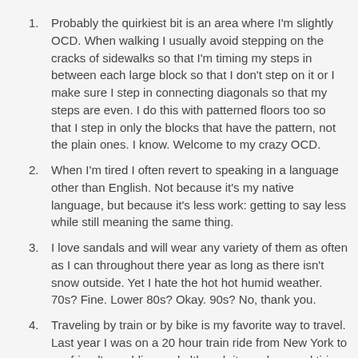Probably the quirkiest bit is an area where I'm slightly OCD. When walking I usually avoid stepping on the cracks of sidewalks so that I'm timing my steps in between each large block so that I don't step on it or I make sure I step in connecting diagonals so that my steps are even. I do this with patterned floors too so that I step in only the blocks that have the pattern, not the plain ones. I know. Welcome to my crazy OCD.
When I'm tired I often revert to speaking in a language other than English. Not because it's my native language, but because it's less work: getting to say less while still meaning the same thing.
I love sandals and will wear any variety of them as often as I can throughout there year as long as there isn't snow outside. Yet I hate the hot hot humid weather. 70s? Fine. Lower 80s? Okay. 90s? No, thank you.
Traveling by train or by bike is my favorite way to travel. Last year I was on a 20 hour train ride from New York to my friend's wedding and although it was long and tiring the people, stories, and gorgeous bits of my